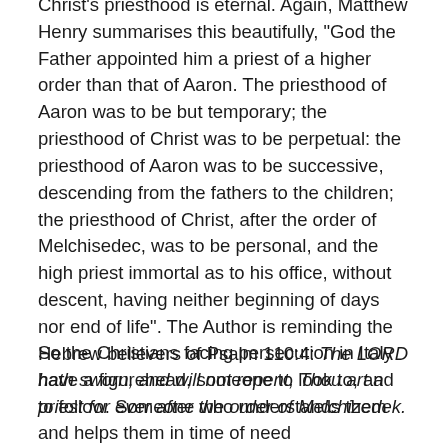Christ's priesthood is eternal. Again, Matthew Henry summarises this beautifully, "God the Father appointed him a priest of a higher order than that of Aaron. The priesthood of Aaron was to be but temporary; the priesthood of Christ was to be perpetual: the priesthood of Aaron was to be successive, descending from the fathers to the children; the priesthood of Christ, after the order of Melchisedec, was to be personal, and the high priest immortal as to his office, without descent, having neither beginning of days nor end of life". The Author is reminding the Hebrew believers of Psalm 110:4: The LORD hath sworn, and will not repent, Thou art a priest for ever after the order of Melchizedek.
So the Christians facing persecution in Italy have a figurehead, someone to look to, and to follow. Someone who understands them and helps them in time of need